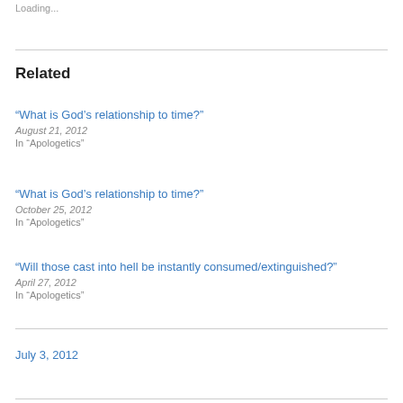Loading...
Related
“What is God’s relationship to time?”
August 21, 2012
In “Apologetics”
“What is God’s relationship to time?”
October 25, 2012
In “Apologetics”
“Will those cast into hell be instantly consumed/extinguished?”
April 27, 2012
In “Apologetics”
July 3, 2012